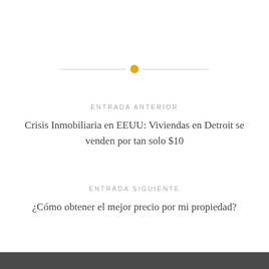[Figure (other): Horizontal divider with a golden/amber circle in the center and thin gray lines on each side]
ENTRADA ANTERIOR
Crisis Inmobiliaria en EEUU: Viviendas en Detroit se venden por tan solo $10
ENTRADA SIGUIENTE
¿Cómo obtener el mejor precio por mi propiedad?